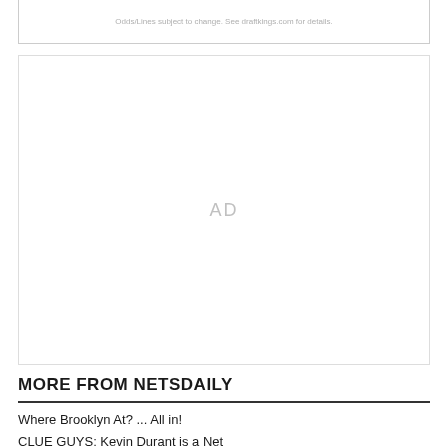Odds/Lines subject to change. See draftkings.com for details.
[Figure (other): Advertisement placeholder box with 'AD' text in center]
MORE FROM NETSDAILY
Where Brooklyn At? ... All in!
CLUE GUYS: Kevin Durant is a Net